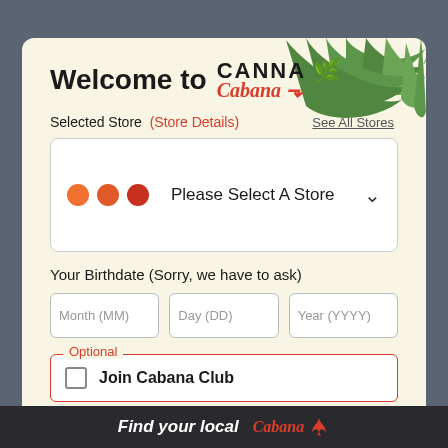Welcome to CANNA Cabana
Selected Store  (Store Details)  See All Stores
Please Select A Store
Your Birthdate (Sorry, we have to ask)
Month (MM)
Day (DD)
Year (YYYY)
Optional
Join Cabana Club
Find your local  Cabana